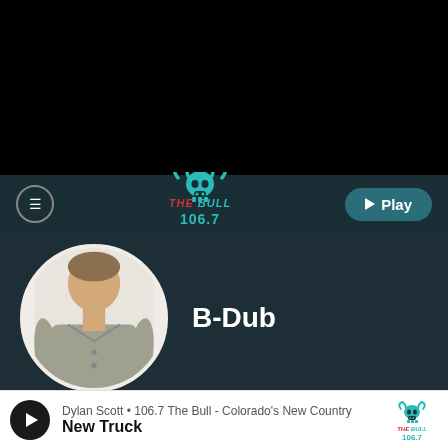[Figure (screenshot): Black header bar at top of mobile radio station app]
[Figure (logo): The Bull 106.7 radio station logo with bull skull icon in teal and red]
[Figure (photo): Circular profile photo of B-Dub, a man in a grey shirt]
B-Dub
LISTEN LIVE   FACEBOOK   TWITTER   INSTAGR
Dylan Scott • 106.7 The Bull - Colorado's New Country
New Truck